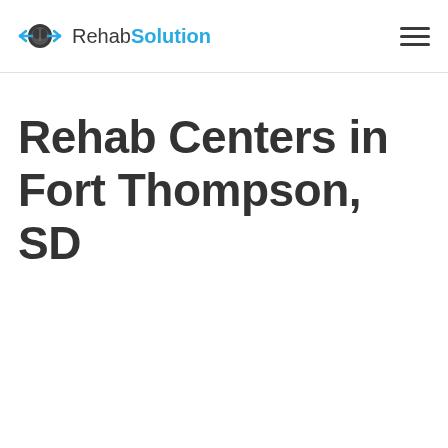[Figure (logo): RehabSolution logo with brain icon and arrows pointing left and right, blue and dark gray color scheme]
Rehab Centers in Fort Thompson, SD